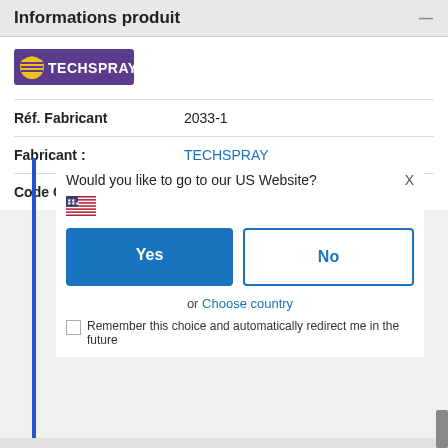Informations produit
[Figure (logo): Techspray logo - purple background with yellow circle icon and white text TECHSPRAY]
| Réf. Fabricant | 2033-1 |
| Fabricant : | TECHSPRAY |
| Code Commande : | 68K7333 |
Would you like to go to our US Website?
[Figure (illustration): US flag emoji]
Yes
No
or Choose country
Remember this choice and automatically redirect me in the future